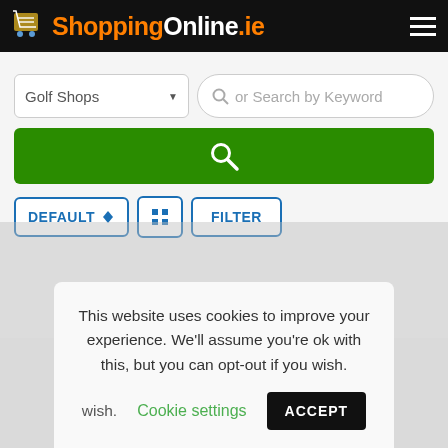ShoppingOnline.ie
[Figure (screenshot): Dropdown selector showing 'Golf Shops' with arrow]
[Figure (screenshot): Search text box with placeholder 'or Search by Keyword']
[Figure (screenshot): Green search button with magnifying glass icon]
[Figure (screenshot): DEFAULT sort button with up/down arrows, grid view button, and FILTER button]
This website uses cookies to improve your experience. We'll assume you're ok with this, but you can opt-out if you wish.
Cookie settings  ACCEPT